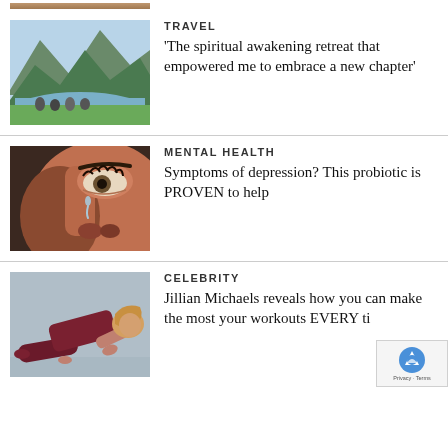[Figure (photo): Partial top image strip showing person/skin tones]
[Figure (photo): People sitting by a mountain lake landscape for travel article]
TRAVEL
'The spiritual awakening retreat that empowered me to embrace a new chapter'
[Figure (photo): Close-up of woman's eye with tear for mental health article]
MENTAL HEALTH
Symptoms of depression? This probiotic is PROVEN to help
[Figure (photo): Woman doing push-up pose for celebrity fitness article]
CELEBRITY
Jillian Michaels reveals how you can make the most your workouts EVERY ti